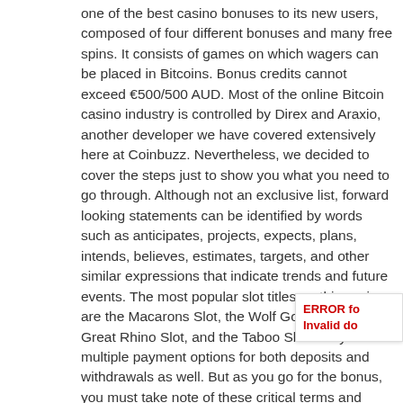one of the best casino bonuses to its new users, composed of four different bonuses and many free spins. It consists of games on which wagers can be placed in Bitcoins. Bonus credits cannot exceed €500/500 AUD. Most of the online Bitcoin casino industry is controlled by Direx and Araxio, another developer we have covered extensively here at Coinbuzz. Nevertheless, we decided to cover the steps just to show you what you need to go through. Although not an exclusive list, forward looking statements can be identified by words such as anticipates, projects, expects, plans, intends, believes, estimates, targets, and other similar expressions that indicate trends and future events. The most popular slot titles on this casino are the Macarons Slot, the Wolf Gold Slot, the Great Rhino Slot, and the Taboo Slot. They have multiple payment options for both deposits and withdrawals as well. But as you go for the bonus, you must take note of these critical terms and conditions that bind the usage of the welcome bonus. Winners become owners of online points suitable for exchange and betting. Although you probably won't have any problems, if you happen to stumble upon something that you don't know, you can use the following ways of contacting Syndicate. Syndicate Casino is restricted in a few countries. Unlike other casinos, you can easily see everything that's available here once you go to the payment page. It is important to remember that this stage requires the KYC procedure to be completed first. These include
ERROR fo
Invalid do